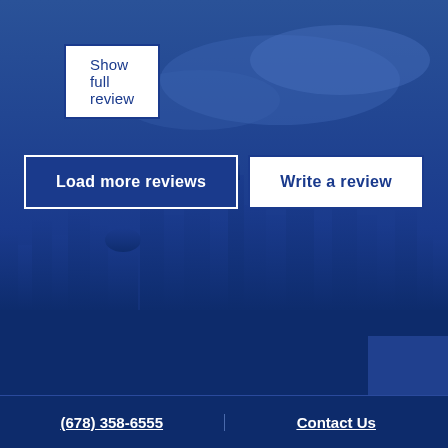Show full review
[Figure (illustration): Dark navy blue background with city skyline silhouette]
Load more reviews
Write a review
(678) 358-6555   Contact Us